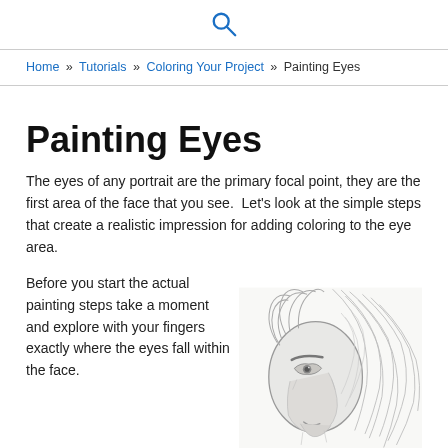[search icon]
Home » Tutorials » Coloring Your Project » Painting Eyes
Painting Eyes
The eyes of any portrait are the primary focal point, they are the first area of the face that you see.  Let's look at the simple steps that create a realistic impression for adding coloring to the eye area.
Before you start the actual painting steps take a moment and explore with your fingers exactly where the eyes fall within the face. Shading...
[Figure (illustration): A detailed pencil sketch/illustration of a fantastical creature (lion-like or wizard-like character) with wild flowing hair/mane, a large nose, and expressive eyes. Rendered in grayscale pencil style.]